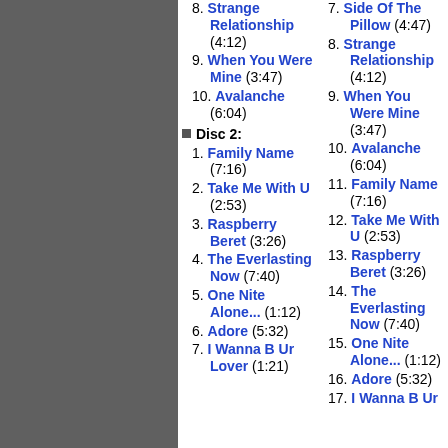8. Strange Relationship (4:12)
9. When You Were Mine (3:47)
10. Avalanche (6:04)
Disc 2:
1. Family Name (7:16)
2. Take Me With U (2:53)
3. Raspberry Beret (3:26)
4. The Everlasting Now (7:40)
5. One Nite Alone... (1:12)
6. Adore (5:32)
7. I Wanna B Ur Lover (1:21)
7. Side Of The Pillow (4:47)
8. Strange Relationship (4:12)
9. When You Were Mine (3:47)
10. Avalanche (6:04)
11. Family Name (7:16)
12. Take Me With U (2:53)
13. Raspberry Beret (3:26)
14. The Everlasting Now (7:40)
15. One Nite Alone... (1:12)
16. Adore (5:32)
17. I Wanna B Ur Lover